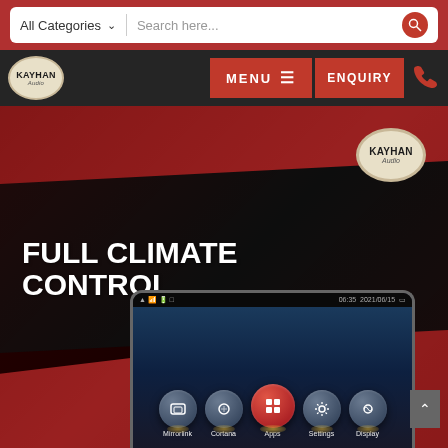All Categories | Search here...
[Figure (logo): Kayhan Audio logo in navigation bar]
MENU
ENQUIRY
[Figure (illustration): Kayhan Audio promotional banner with red and black diagonal design, Kayhan Audio logo, text FULL CLIMATE CONTROL, and a car head unit display showing app icons including Mirrorlink, Cortana, Apps, Settings, Display]
FULL CLIMATE CONTROL